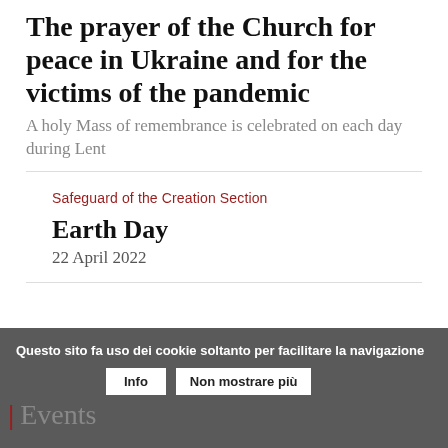The prayer of the Church for peace in Ukraine and for the victims of the pandemic
A holy Mass of remembrance is celebrated on each day during Lent
Safeguard of the Creation Section
Earth Day
22 April 2022
Questo sito fa uso dei cookie soltanto per facilitare la navigazione  Info  Non mostrare più  | Events